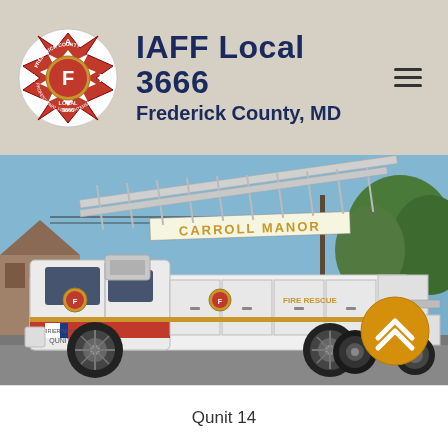IAFF Local 3666 Frederick County, MD
[Figure (photo): A white Carroll Manor fire rescue ladder truck (Qunit 14) parked outdoors under a blue sky with trees in the background. The truck has an extended aerial ladder and a gold shield emblem.]
Qunit 14